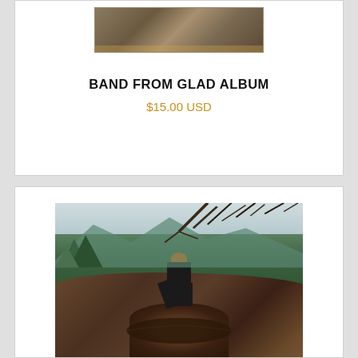[Figure (photo): Partial view of an album cover at top of first product card]
BAND FROM GLAD ALBUM
$15.00 USD
[Figure (photo): A person wearing a helmet standing on a large fallen log in a forested mountainous area. Green trees and misty mountains are visible in the background.]